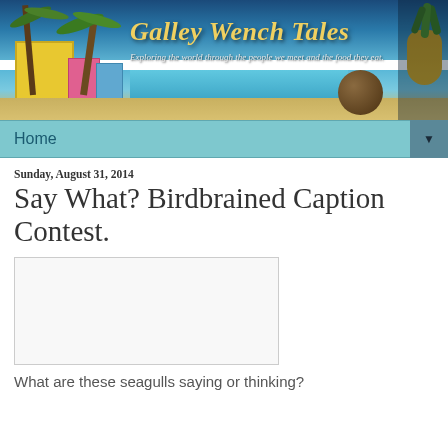[Figure (illustration): Galley Wench Tales blog banner showing a tropical beach scene with palm trees, yellow hut, blue water, coconut, and pineapple. Blog title 'Galley Wench Tales' in gold italic script. Subtitle: 'Exploring the world through the people we meet and the food they eat.']
Home ▼
Sunday, August 31, 2014
Say What? Birdbrained Caption Contest.
[Figure (photo): White/blank image placeholder (seagulls photo not loaded)]
What are these seagulls saying or thinking?